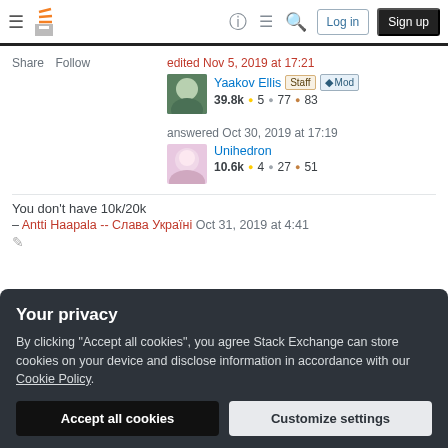Stack Exchange navigation bar with Log in and Sign up buttons
Share Follow
edited Nov 5, 2019 at 17:21
Yaakov Ellis Staff ♦Mod 39.8k ● 5 ● 77 ● 83
answered Oct 30, 2019 at 17:19
Unihedron 10.6k ● 4 ● 27 ● 51
You don't have 10k/20k – Antti Haapala -- Слава Україні Oct 31, 2019 at 4:41
Your privacy
By clicking "Accept all cookies", you agree Stack Exchange can store cookies on your device and disclose information in accordance with our Cookie Policy.
Accept all cookies
Customize settings
the list of people where relevant based on your privileges. Yaakov Ellis Staff ♦Mod Nov 5, 2019 at